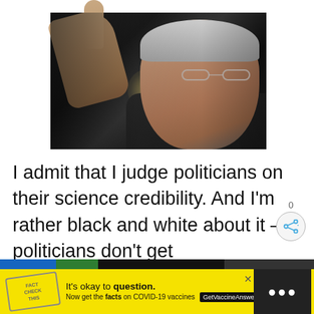[Figure (photo): Photo of an older man with white hair and glasses, wearing a dark suit, pointing upward with one finger, speaking passionately against a dark background with a light glow.]
I admit that I judge politicians on their science credibility. And I'm rather black and white about it – politicians don't get
[Figure (infographic): Share button icon showing a network share symbol with a count of 0 above it, styled as a circular button.]
It's okay to question. Now get the facts on COVID-19 vaccines GetVaccineAnswers.org